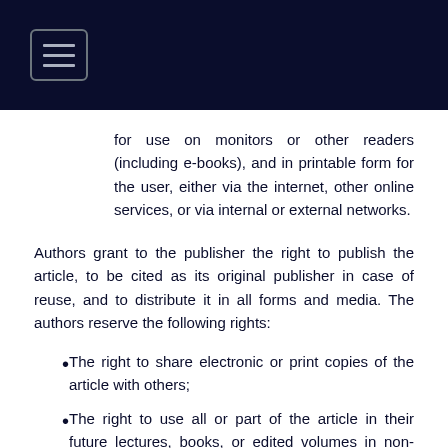[Navigation bar with hamburger menu icon]
for use on monitors or other readers (including e-books), and in printable form for the user, either via the internet, other online services, or via internal or external networks.
Authors grant to the publisher the right to publish the article, to be cited as its original publisher in case of reuse, and to distribute it in all forms and media. The authors reserve the following rights:
The right to share electronic or print copies of the article with others;
The right to use all or part of the article in their future lectures, books, or edited volumes in non-commercial and commercial use;
The right to use the article within an employer's